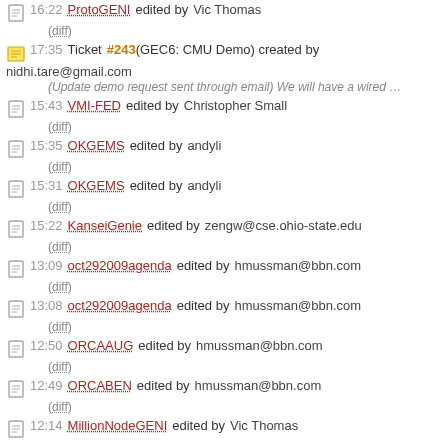16:22 ProtoGENI edited by Vic Thomas (diff)
17:35 Ticket #243 (GEC6: CMU Demo) created by nidhi.tare@gmail.com (Update demo request sent through email) We will have a wired …
15:43 VMI-FED edited by Christopher Small (diff)
15:35 OKGEMS edited by andyli (diff)
15:31 OKGEMS edited by andyli (diff)
15:22 KanseiGenie edited by zengw@cse.ohio-state.edu (diff)
13:09 oct292009agenda edited by hmussman@bbn.com (diff)
13:08 oct292009agenda edited by hmussman@bbn.com (diff)
12:50 ORCAAUG edited by hmussman@bbn.com (diff)
12:49 ORCABEN edited by hmussman@bbn.com (diff)
12:14 MillionNodeGENI edited by Vic Thomas